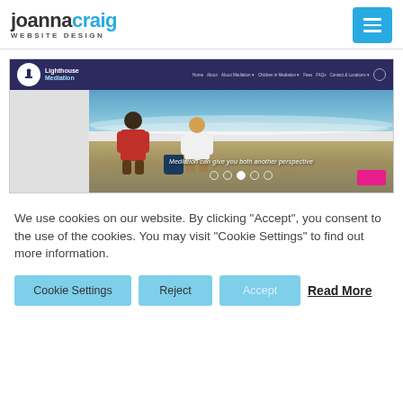joannacraig WEBSITE DESIGN
[Figure (screenshot): Screenshot of Lighthouse Mediation website showing navigation bar with logo and menu links, and a hero image of two children sitting on a beach with the caption 'Mediation can give you both another perspective'. Carousel dots are visible below the image.]
We use cookies on our website. By clicking "Accept", you consent to the use of the cookies. You may visit "Cookie Settings" to find out more information.
Cookie Settings   Reject   Accept   Read More